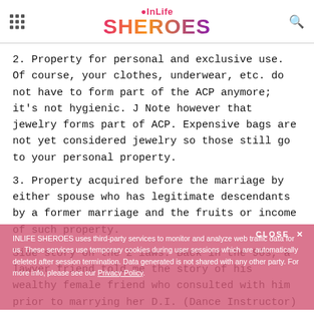[Figure (logo): InLife Sheroes logo with colorful gradient text]
2. Property for personal and exclusive use. Of course, your clothes, underwear, etc. do not have to form part of the ACP anymore; it's not hygienic. J Note however that jewelry forms part of ACP. Expensive bags are not yet considered jewelry so those still go to your personal property.
3. Property acquired before the marriage by either spouse who has legitimate descendants by a former marriage and the fruits or income of such property.
Side story on the 2 laws: Back in the 90s, a lawyer friend told me the story of his wealthy female friend who consulted with him prior to marrying her D.I. (Dance Instructor) boyfriend. She recognized the huge gap in their financial conditions but didn't want to hurt the
INLIFE SHEROES uses third-party services to monitor and analyze web traffic data for us. These services use temporary cookies during user sessions which are automatically deleted after session termination. Data generated is not shared with any other party. For more info, please see our Privacy Policy.